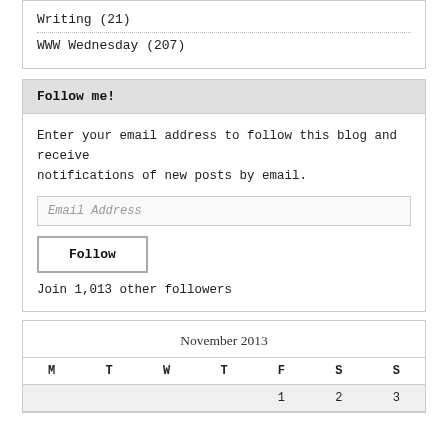Writing (21)
WWW Wednesday (207)
Follow me!
Enter your email address to follow this blog and receive notifications of new posts by email.
Email Address
Follow
Join 1,013 other followers
| M | T | W | T | F | S | S |
| --- | --- | --- | --- | --- | --- | --- |
|  |  |  |  | 1 | 2 | 3 |